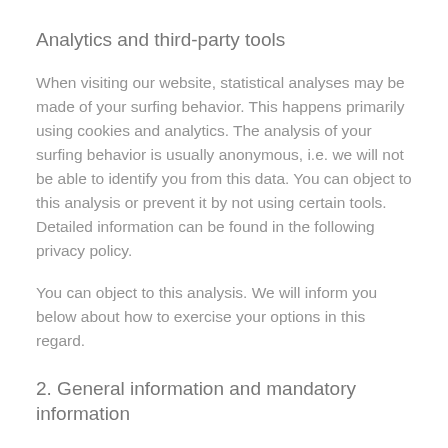Analytics and third-party tools
When visiting our website, statistical analyses may be made of your surfing behavior. This happens primarily using cookies and analytics. The analysis of your surfing behavior is usually anonymous, i.e. we will not be able to identify you from this data. You can object to this analysis or prevent it by not using certain tools. Detailed information can be found in the following privacy policy.
You can object to this analysis. We will inform you below about how to exercise your options in this regard.
2. General information and mandatory information